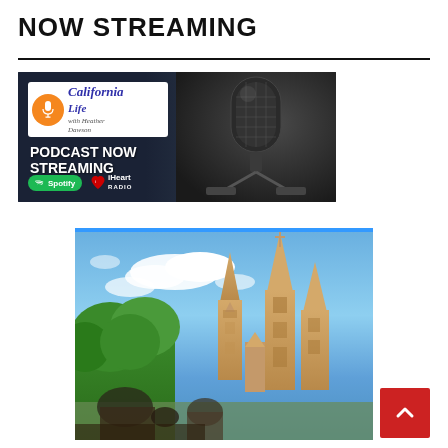NOW STREAMING
[Figure (photo): California Life with Heather Dawson podcast banner showing microphone, with text 'PODCAST NOW STREAMING' and Spotify and iHeart Radio logos on dark background]
[Figure (photo): Outdoor photo of gothic church spires (San Miguel de Allende Parroquia) against blue sky with white clouds and green trees, with people in foreground]